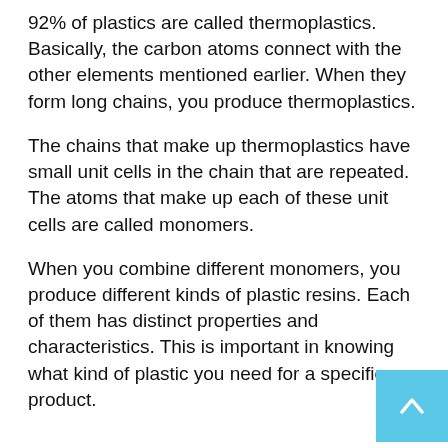92% of plastics are called thermoplastics. Basically, the carbon atoms connect with the other elements mentioned earlier. When they form long chains, you produce thermoplastics.
The chains that make up thermoplastics have small unit cells in the chain that are repeated. The atoms that make up each of these unit cells are called monomers.
When you combine different monomers, you produce different kinds of plastic resins. Each of them has distinct properties and characteristics. This is important in knowing what kind of plastic you need for a specific product.
[Figure (other): Light blue square button with a white upward-pointing chevron arrow, positioned at the bottom right corner of the page.]